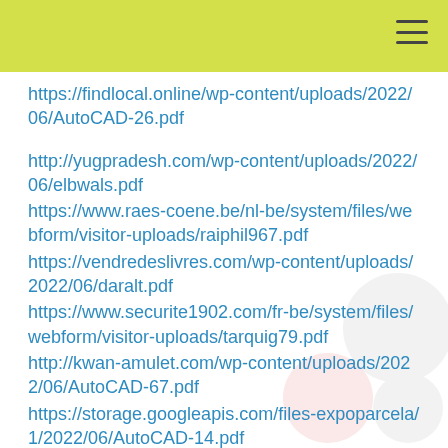https://findlocal.online/wp-content/uploads/2022/06/AutoCAD-26.pdf
http://yugpradesh.com/wp-content/uploads/2022/06/elbwals.pdf
https://www.raes-coene.be/nl-be/system/files/webform/visitor-uploads/raiphil967.pdf
https://vendredeslivres.com/wp-content/uploads/2022/06/daralt.pdf
https://www.securite1902.com/fr-be/system/files/webform/visitor-uploads/tarquig79.pdf
http://kwan-amulet.com/wp-content/uploads/2022/06/AutoCAD-67.pdf
https://storage.googleapis.com/files-expoparcela/1/2022/06/AutoCAD-14.pdf
https://networny-